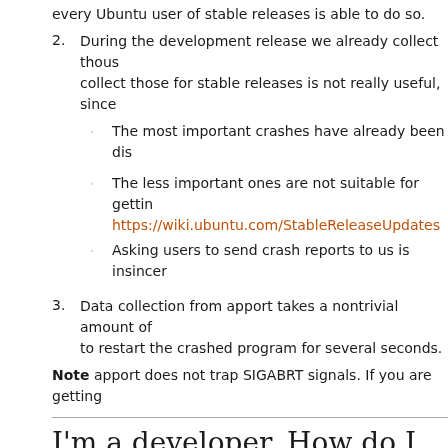every Ubuntu user of stable releases is able to do so.
During the development release we already collect thousands of crash reports. To collect those for stable releases is not really useful, since
- The most important crashes have already been discovered.
- The less important ones are not suitable for getting into stable releases https://wiki.ubuntu.com/StableReleaseUpdates
- Asking users to send crash reports to us is insincere.
Data collection from apport takes a nontrivial amount of time and may cause it to restart the crashed program for several seconds.
Note apport does not trap SIGABRT signals. If you are getting
I'm a developer. How do I use
Report format
apport internally uses the standard Debian control syntax for r
DistroRelease: Ubuntu 6.10
ExecutablePath: /usr/bin/gcalctool